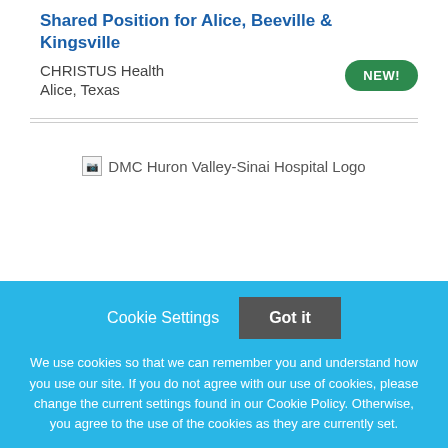Shared Position for Alice, Beeville & Kingsville
CHRISTUS Health
Alice, Texas
NEW!
[Figure (logo): DMC Huron Valley-Sinai Hospital Logo (broken image)]
Cookie Settings   Got it
We use cookies so that we can remember you and understand how you use our site. If you do not agree with our use of cookies, please change the current settings found in our Cookie Policy. Otherwise, you agree to the use of the cookies as they are currently set.